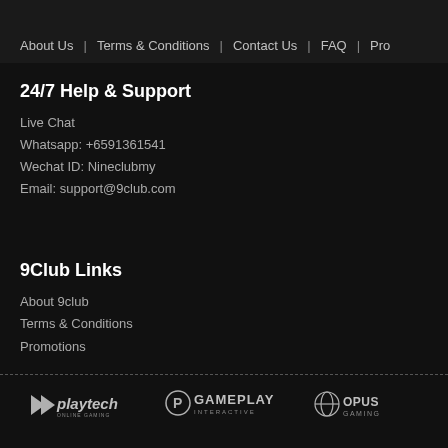About Us | Terms & Conditions | Contact Us | FAQ | Pro...
24/7 Help & Support
Live Chat
Whatsapp: +6591361541
Wechat ID: Nineclubmy
Email: support@9club.com
9Club Links
About 9club
Terms & Conditions
Promotions
[Figure (logo): Playtech logo in grey/white]
[Figure (logo): Gameplay Interactive logo in grey/white]
[Figure (logo): Opus Gaming logo in grey/white]